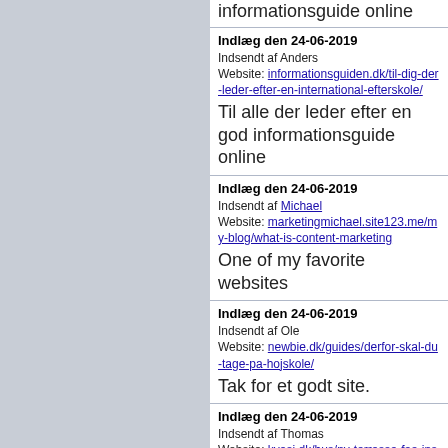informationsguide online
Indlæg den 24-06-2019
Indsendt af Anders
Website: informationsguiden.dk/til-dig-der-leder-efter-en-international-efterskole/
Til alle der leder efter en god informationsguide online
Indlæg den 24-06-2019
Indsendt af Michael
Website: marketingmichael.site123.me/my-blog/what-is-content-marketing
One of my favorite websites
Indlæg den 24-06-2019
Indsendt af Ole
Website: newbie.dk/guides/derfor-skal-du-tage-pa-hojskole/
Tak for et godt site.
Indlæg den 24-06-2019
Indsendt af Thomas
Website: kvasi.dk/hus/ny-terrasse-faa-inspiration-og-raad-til-hvad-du-boer-vide-inden-du-gaar-i-gang/
Læs mere på Kvasi.dk
Indlæg den 24-06-2019
Indsendt af Michelle
Website: digishop.dk/diverse/faellesskabet-er-vigtigt-for-alle/
Højskoler tilbyder et